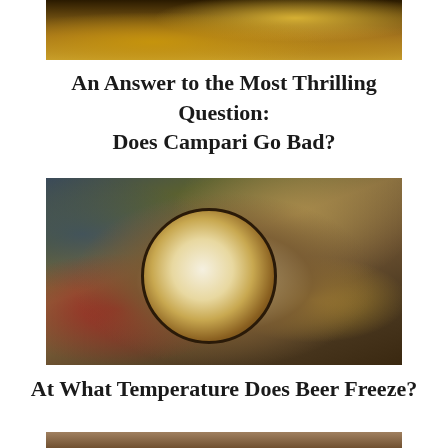[Figure (photo): Top portion of a photo showing drinks with oranges and warm bokeh lights in the background]
An Answer to the Most Thrilling Question: Does Campari Go Bad?
[Figure (photo): Overhead photo of a beer mug with frothy head on a wooden cutting board, surrounded by pistachios, green olives, sliced cherry tomatoes, and yellow cheese strips]
At What Temperature Does Beer Freeze?
[Figure (photo): Bottom partial photo, cropped at bottom of page]